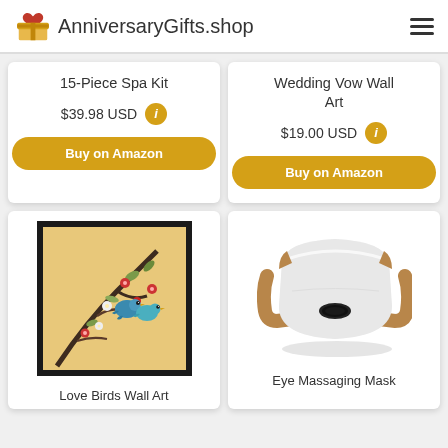AnniversaryGifts.shop
15-Piece Spa Kit
$39.98 USD
Buy on Amazon
Wedding Vow Wall Art
$19.00 USD
Buy on Amazon
[Figure (photo): Love Birds Wall Art - framed painting of two blue birds on a cherry blossom branch]
Love Birds Wall Art
[Figure (photo): Eye Massaging Mask - white and tan electronic eye massager device]
Eye Massaging Mask